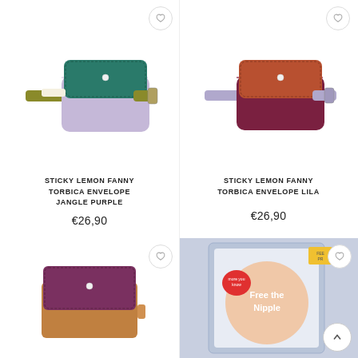[Figure (photo): Sticky Lemon fanny pack bag in teal/green flap with lavender body and olive strap]
STICKY LEMON FANNY TORBICA ENVELOPE JANGLE PURPLE
€26,90
[Figure (photo): Sticky Lemon fanny pack bag in rust/orange flap with burgundy body and lavender strap]
STICKY LEMON FANNY TORBICA ENVELOPE LILA
€26,90
[Figure (photo): Small wallet/purse in purple flap with tan/camel body]
[Figure (photo): Product box with lavender background showing a round product with Free the Nipple text and a heart sticker]